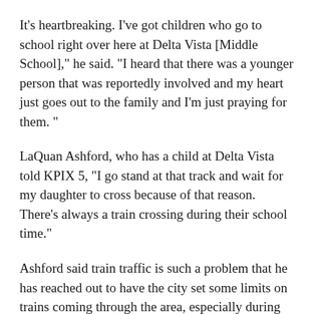It's heartbreaking. I've got children who go to school right over here at Delta Vista [Middle School]," he said. "I heard that there was a younger person that was reportedly involved and my heart just goes out to the family and I'm just praying for them. "
LaQuan Ashford, who has a child at Delta Vista told KPIX 5, "I go stand at that track and wait for my daughter to cross because of that reason. There's always a train crossing during their school time."
Ashford said train traffic is such a problem that he has reached out to have the city set some limits on trains coming through the area, especially during pick up and drop off hours.